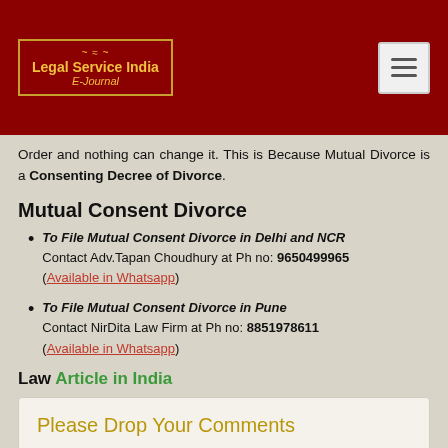Legal Service India E-Journal
Order and nothing can change it. This is Because Mutual Divorce is a Consenting Decree of Divorce.
Mutual Consent Divorce
To File Mutual Consent Divorce in Delhi and NCR Contact Adv.Tapan Choudhury at Ph no: 9650499965 (Available in Whatsapp)
To File Mutual Consent Divorce in Pune Contact NirDita Law Firm at Ph no: 8851978611 (Available in Whatsapp)
Law Article in India
Please Drop Your Comments